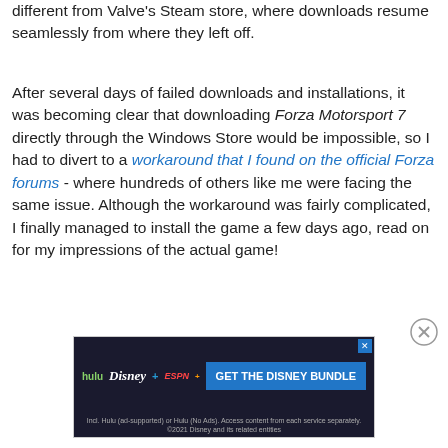different from Valve's Steam store, where downloads resume seamlessly from where they left off.
After several days of failed downloads and installations, it was becoming clear that downloading Forza Motorsport 7 directly through the Windows Store would be impossible, so I had to divert to a workaround that I found on the official Forza forums - where hundreds of others like me were facing the same issue. Although the workaround was fairly complicated, I finally managed to install the game a few days ago, read on for my impressions of the actual game!
[Figure (other): Disney Bundle advertisement banner with Hulu, Disney+, and ESPN+ logos and 'GET THE DISNEY BUNDLE' call-to-action button]